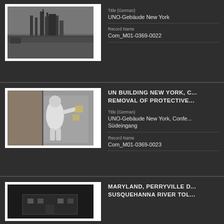[Figure (photo): Black and white photograph of a cityscape/skyline with industrial structures near water, vegetation in foreground]
Title (German)
UNO-Gebäude New York
Record Name
Com_M01-0369-0022
[Figure (photo): Black and white photograph of a person in protective white suit/mask working on removing protective material from a panel or door inside a building]
UN BUILDING NEW YORK, C... REMOVAL OF PROTECTIVE...
Title (German)
UNO-Gebäude New York, Confe... Südeingang
Record Name
Com_M01-0369-0023
[Figure (photo): Black and white photograph, partially visible, dark scene]
MARYLAND, PERRYVILLE D... SUSQUEHANNA RIVER TOL...